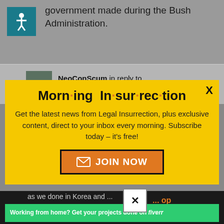government made during the Bush Administration.
NeoConScum in reply to
[Figure (infographic): Morning Insurrection newsletter signup popup with yellow background, close button X, bold title 'Morn·ing In·sur·rec·tion', body text about Legal Insurrection newsletter, and orange JOIN NOW button with envelope icon]
as we done in Korea and ...
[Figure (infographic): Green Fiverr advertisement banner: 'Working from home? Get your projects done on fiverr']